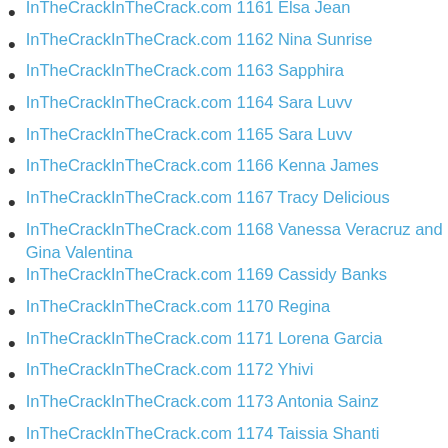InTheCrackInTheCrack.com 1161 Elsa Jean
InTheCrackInTheCrack.com 1162 Nina Sunrise
InTheCrackInTheCrack.com 1163 Sapphira
InTheCrackInTheCrack.com 1164 Sara Luvv
InTheCrackInTheCrack.com 1165 Sara Luvv
InTheCrackInTheCrack.com 1166 Kenna James
InTheCrackInTheCrack.com 1167 Tracy Delicious
InTheCrackInTheCrack.com 1168 Vanessa Veracruz and Gina Valentina
InTheCrackInTheCrack.com 1169 Cassidy Banks
InTheCrackInTheCrack.com 1170 Regina
InTheCrackInTheCrack.com 1171 Lorena Garcia
InTheCrackInTheCrack.com 1172 Yhivi
InTheCrackInTheCrack.com 1173 Antonia Sainz
InTheCrackInTheCrack.com 1174 Taissia Shanti
InTheCrackInTheCrack.com 1175 Anya Ivy